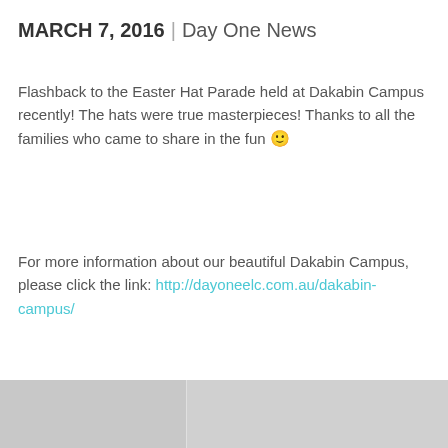MARCH 7, 2016 | Day One News
Flashback to the Easter Hat Parade held at Dakabin Campus recently! The hats were true masterpieces! Thanks to all the families who came to share in the fun 🙂
For more information about our beautiful Dakabin Campus, please click the link: http://dayoneelc.com.au/dakabin-campus/
[Figure (photo): Bottom strip showing partial photos of the Easter Hat Parade event at Dakabin Campus]